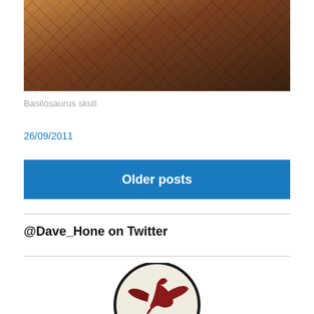[Figure (photo): Photograph of a Basilosaurus skull displayed behind a metal grid/mesh, showing the bone structure under latticed ceiling or display framework. Warm brown tones.]
Basilosaurus skull
26/09/2011
Older posts
@Dave_Hone on Twitter
[Figure (logo): Circular logo with a dark border containing a dark red/maroon illustration of a pterosaur (flying reptile) on a light/cream background.]